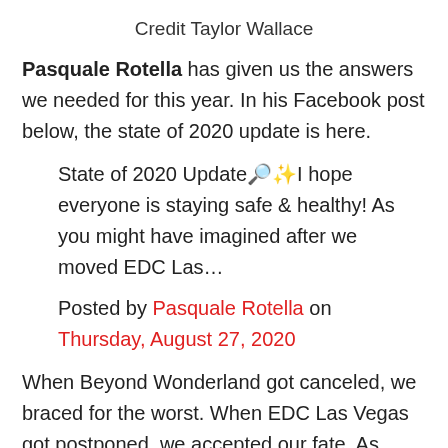Credit Taylor Wallace
Pasquale Rotella has given us the answers we needed for this year. In his Facebook post below, the state of 2020 update is here.
State of 2020 Update🔎✨ I hope everyone is staying safe & healthy! As you might have imagined after we moved EDC Las…
Posted by Pasquale Rotella on Thursday, August 27, 2020
When Beyond Wonderland got canceled, we braced for the worst. When EDC Las Vegas got postponed, we accepted our fate. As Rotella now states that our fall festivals will